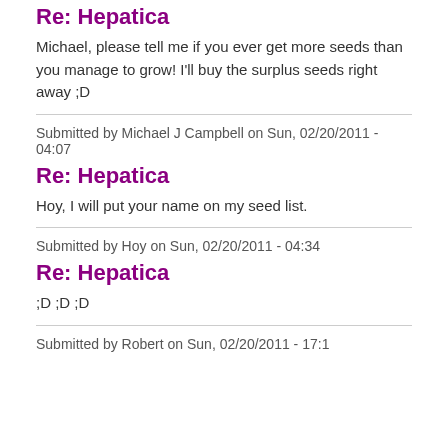Re: Hepatica
Michael, please tell me if you ever get more seeds than you manage to grow! I'll buy the surplus seeds right away ;D
Submitted by Michael J Campbell on Sun, 02/20/2011 - 04:07
Re: Hepatica
Hoy, I will put your name on my seed list.
Submitted by Hoy on Sun, 02/20/2011 - 04:34
Re: Hepatica
;D ;D ;D
Submitted by Robert on Sun, 02/20/2011 - 17:1...